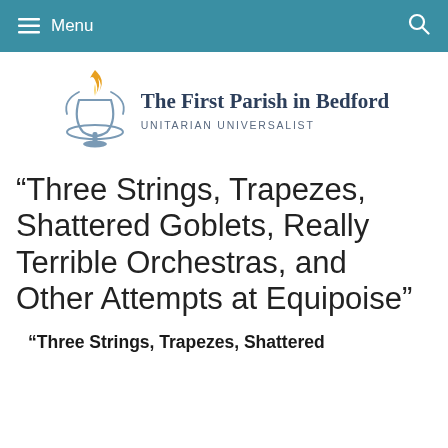≡ Menu
[Figure (logo): The First Parish in Bedford Unitarian Universalist logo with chalice icon]
“Three Strings, Trapezes, Shattered Goblets, Really Terrible Orchestras, and Other Attempts at Equipoise”
“Three Strings, Trapezes, Shattered